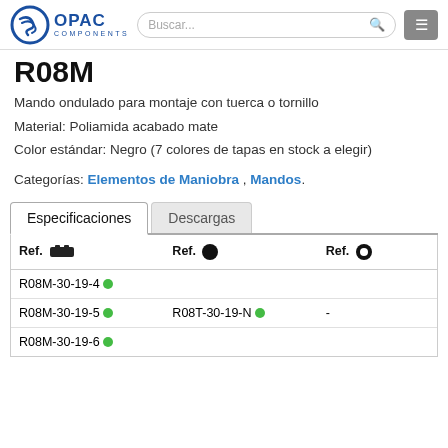OPAC COMPONENTS — navigation header with search bar
R08M
Mando ondulado para montaje con tuerca o tornillo
Material: Poliamida acabado mate
Color estándar: Negro (7 colores de tapas en stock a elegir)
Categorías: Elementos de Maniobra , Mandos.
| Ref. [connector icon] | Ref. [filled circle icon] | Ref. [ring icon] |
| --- | --- | --- |
| R08M-30-19-4 ● |  |  |
| R08M-30-19-5 ● | R08T-30-19-N ● | - |
| R08M-30-19-6 ● |  |  |